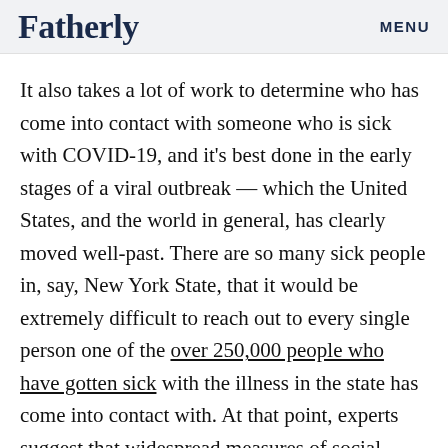Fatherly   MENU
It also takes a lot of work to determine who has come into contact with someone who is sick with COVID-19, and it's best done in the early stages of a viral outbreak — which the United States, and the world in general, has clearly moved well-past. There are so many sick people in, say, New York State, that it would be extremely difficult to reach out to every single person one of the over 250,000 people who have gotten sick with the illness in the state has come into contact with. At that point, experts suggest that widespread measures of social distancing and quarantining are a better, more effective, and more